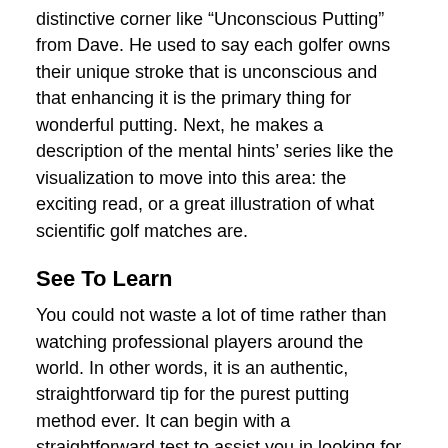distinctive corner like “Unconscious Putting” from Dave. He used to say each golfer owns their unique stroke that is unconscious and that enhancing it is the primary thing for wonderful putting. Next, he makes a description of the mental hints’ series like the visualization to move into this area: the exciting read, or a great illustration of what scientific golf matches are.
See To Learn
You could not waste a lot of time rather than watching professional players around the world. In other words, it is an authentic, straightforward tip for the purest putting method ever. It can begin with a straightforward test to assist you in looking for a suitable or ideal pivot point.
3 Putting Drills to Try at Home
Watch: https://www.youtube.com/watch?v=lN1wXqmTCfl